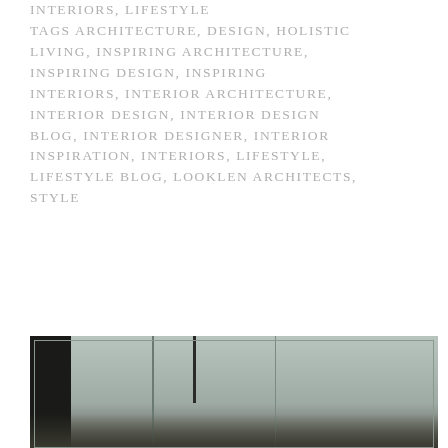INTERIORS, LIFESTYLE
TAGS ARCHITECTURE, DESIGN, HOLISTIC LIVING, INSPIRING ARCHITECTURE, INSPIRING DESIGN, INSPIRING INTERIORS, INTERIOR ARCHITECTURE, INTERIOR DESIGN, INTERIOR DESIGN BLOG, INTERIOR DESIGNER, INTERIOR INSPIRATION, INTERIORS, LIFESTYLE, LIFESTYLE BLOG, LOOKLEN ARCHITECTS, STYLE
[Figure (photo): Architectural interior photo showing a modern space with vertical lines, light grey/mint tones, and dark diagonal element at top left]